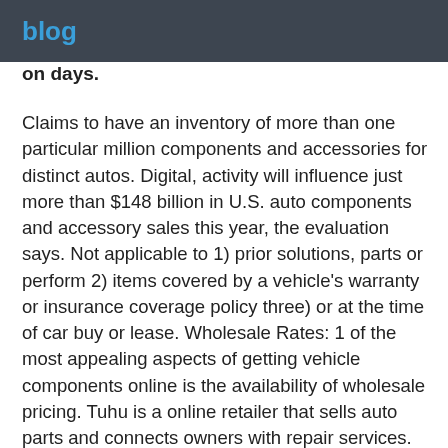blog
on days.
Claims to have an inventory of more than one particular million components and accessories for distinct autos. Digital, activity will influence just more than $148 billion in U.S. auto components and accessory sales this year, the evaluation says. Not applicable to 1) prior solutions, parts or perform 2) items covered by a vehicle's warranty or insurance coverage policy three) or at the time of car buy or lease. Wholesale Rates: 1 of the most appealing aspects of getting vehicle components online is the availability of wholesale pricing. Tuhu is a online retailer that sells auto parts and connects owners with repair services. Regardless what you’re in require of we’ve got you covered including functionality automobile components and automobile accessories to upgrade your car or repair products like new, aftermarket, OEM and